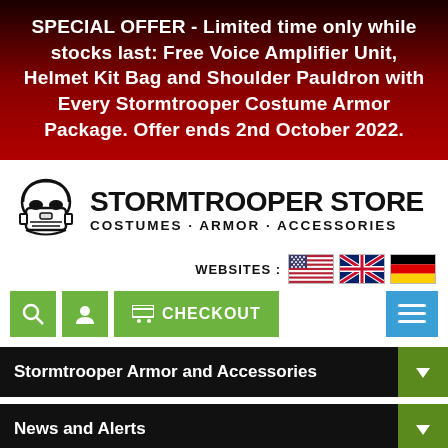SPECIAL OFFER - Limited time only while stocks last: Free Voice Amplifier Unit, Helmet Kit Bag and Shoulder Pauldron with Every Stormtrooper Costume Armor Package. Offer ends 2nd October 2022.
[Figure (logo): Stormtrooper Store logo with helmet icon and text STORMTROOPER STORE COSTUMES · ARMOR · ACCESSORIES]
WEBSITES : [US flag] [UK flag] [German flag]
CHECKOUT
Stormtrooper Armor and Accessories
News and Alerts